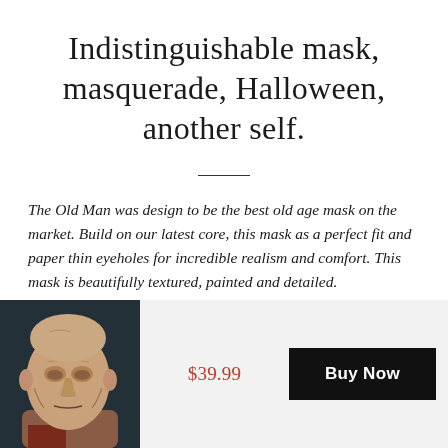Indistinguishable mask, masquerade, Halloween, another self.
The Old Man was design to be the best old age mask on the market. Build on our latest core, this mask as a perfect fit and paper thin eyeholes for incredible realism and comfort. This mask is beautifully textured, painted and detailed.
[Figure (photo): Photo of an old man silicone mask, realistic aged face on a dark background]
$39.99
Buy Now